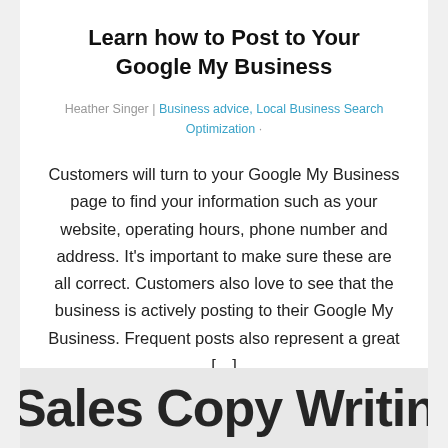Learn how to Post to Your Google My Business
Heather Singer | Business advice, Local Business Search Optimization
Customers will turn to your Google My Business page to find your information such as your website, operating hours, phone number and address. It’s important to make sure these are all correct. Customers also love to see that the business is actively posting to their Google My Business. Frequent posts also represent a great […]
[Figure (other): Partially visible large bold handwritten-style text at the bottom of the page, cropped — appears to read 'Sales Copy Writing' or similar]